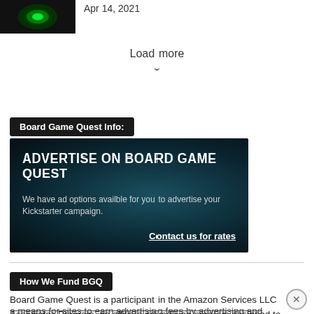[Figure (photo): Small thumbnail image showing a green glowing figure on dark background]
Apr 14, 2021
Load more
Board Game Quest Info:
[Figure (infographic): Dark teal advertisement banner reading: ADVERTISE ON BOARD GAME QUEST. We have ad options availble for you to advertise your Kickstarter campaign. Contact us for rates]
How We Fund BGQ
Board Game Quest is a participant in the Amazon Services LLC Associates Program, an affiliate advertising program designed to provide a means for sites to earn advertising fees by advertising and linking to Amazon.com.